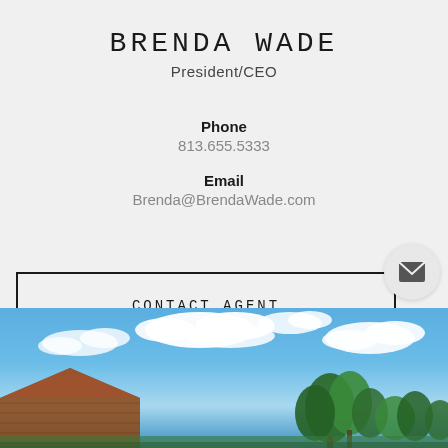BRENDA WADE
President/CEO
Phone
813.655.5333
Email
Brenda@BrendaWade.com
CONTACT AGENT
[Figure (photo): Outdoor photo showing blue sky with white clouds, a rooftop on the left side, and green trees on the right side at the bottom of the page]